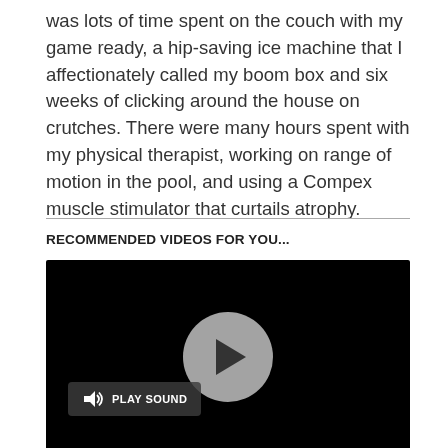was lots of time spent on the couch with my game ready, a hip-saving ice machine that I affectionately called my boom box and six weeks of clicking around the house on crutches. There were many hours spent with my physical therapist, working on range of motion in the pool, and using a Compex muscle stimulator that curtails atrophy.
RECOMMENDED VIDEOS FOR YOU...
[Figure (screenshot): Video player with black background, a circular grey play button in the center, and a 'PLAY SOUND' button with speaker icon in the lower left.]